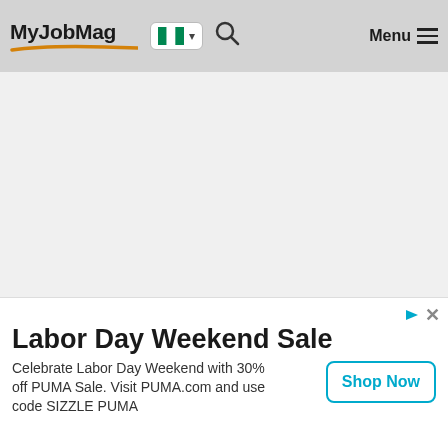MyJobMag navigation bar with logo, Nigeria flag, search icon, and Menu
[Figure (screenshot): MyJobMag website header/navbar with logo text, orange swoosh, Nigerian flag selector, search icon, and hamburger menu]
[Figure (other): Collapse/chevron button on the left side of the page]
[Figure (screenshot): Advertisement banner: Labor Day Weekend Sale. Celebrate Labor Day Weekend with 30% off PUMA Sale. Visit PUMA.com and use code SIZZLE PUMA. Shop Now button.]
Labor Day Weekend Sale
Celebrate Labor Day Weekend with 30% off PUMA Sale. Visit PUMA.com and use code SIZZLE PUMA